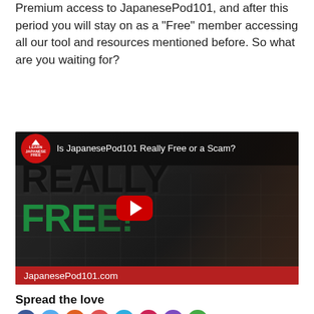Premium access to JapanesePod101, and after this period you will stay on as a “Free” member accessing all our tool and resources mentioned before. So what are you waiting for?
[Figure (screenshot): YouTube video thumbnail for 'Is JapanesePod101 Really Free or a Scam?' showing large text REALLY FREE with a play button, a red Learn Japanese Free badge, and JapanesePod101.com branding at the bottom. A woman in dark clothing appears on the right side.]
Spread the love